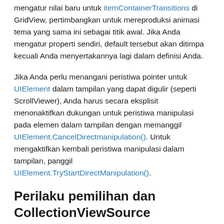mengatur nilai baru untuk itemContainerTransitions di GridView, pertimbangkan untuk mereproduksi animasi tema yang sama ini sebagai titik awal. Jika Anda mengatur properti sendiri, default tersebut akan ditimpa kecuali Anda menyertakannya lagi dalam definisi Anda.
Jika Anda perlu menangani peristiwa pointer untuk UIElement dalam tampilan yang dapat digulir (seperti ScrollViewer), Anda harus secara eksplisit menonaktifkan dukungan untuk peristiwa manipulasi pada elemen dalam tampilan dengan memanggil UIElement.CancelDirectmanipulation(). Untuk mengaktifkan kembali peristiwa manipulasi dalam tampilan, panggil UIElement.TryStartDirectManipulation().
Perilaku pemilihan dan CollectionViewSource
Kontrol daftar mendukung dari Pemilihan, memilih pilihan...